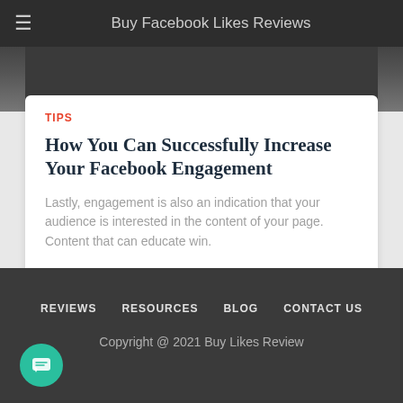Buy Facebook Likes Reviews
[Figure (photo): Partial photo visible at the top of a card, showing dark background with partial figures]
TIPS
How You Can Successfully Increase Your Facebook Engagement
Lastly, engagement is also an indication that your audience is interested in the content of your page. Content that can educate win.
REVIEWS   RESOURCES   BLOG   CONTACT US
Copyright @ 2021 Buy Likes Review